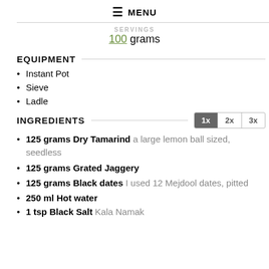≡ MENU
SERVINGS
100 grams
EQUIPMENT
Instant Pot
Sieve
Ladle
INGREDIENTS
125 grams Dry Tamarind a large lemon ball sized, seedless
125 grams Grated Jaggery
125 grams Black dates I used 12 Mejdool dates, pitted
250 ml Hot water
1 tsp Black Salt Kala Namak